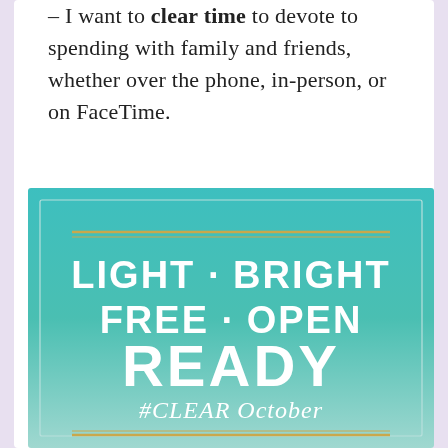– I want to clear time to devote to spending with family and friends, whether over the phone, in-person, or on FaceTime.
[Figure (infographic): Teal gradient square with decorative gold horizontal lines at top and bottom, white bold uppercase text reading LIGHT · BRIGHT FREE · OPEN READY, and handwritten-style text #CLEAR October]